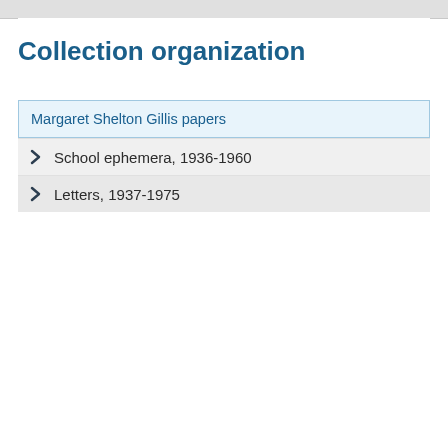Collection organization
Margaret Shelton Gillis papers
School ephemera, 1936-1960
Letters, 1937-1975